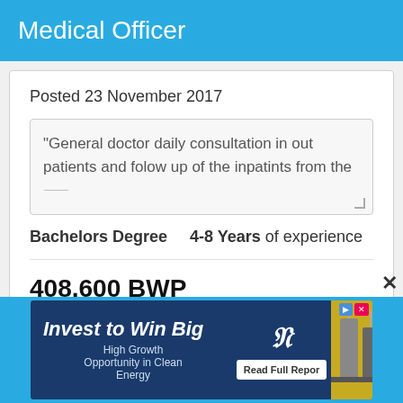Medical Officer
Posted 23 November 2017
"General doctor daily consultation in out patients and folow up of the inpatints from the
Bachelors Degree     4-8 Years of experience
408,600 BWP
[Figure (screenshot): Advertisement banner: Invest to Win Big - High Growth Opportunity in Clean Energy, with Read Full Report button and industrial image]